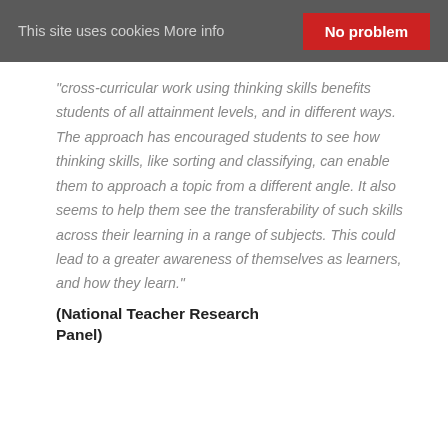This site uses cookies More info   No problem
“cross-curricular work using thinking skills benefits students of all attainment levels, and in different ways. The approach has encouraged students to see how thinking skills, like sorting and classifying, can enable them to approach a topic from a different angle. It also seems to help them see the transferability of such skills across their learning in a range of subjects. This could lead to a greater awareness of themselves as learners, and how they learn.”
(National Teacher Research Panel)